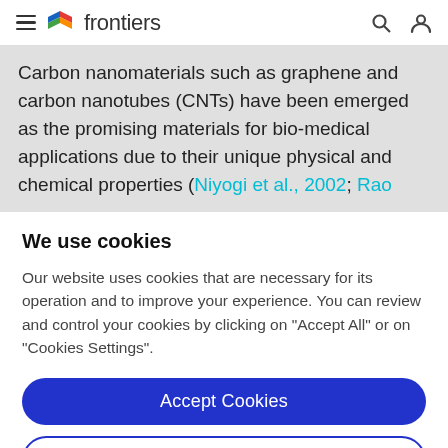frontiers
Carbon nanomaterials such as graphene and carbon nanotubes (CNTs) have been emerged as the promising materials for bio-medical applications due to their unique physical and chemical properties (Niyogi et al., 2002; Rao
We use cookies
Our website uses cookies that are necessary for its operation and to improve your experience. You can review and control your cookies by clicking on "Accept All" or on "Cookies Settings".
Accept Cookies
Cookies Settings